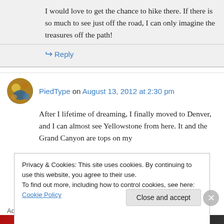I would love to get the chance to hike there. If there is so much to see just off the road, I can only imagine the treasures off the path!
↳ Reply
PiedType on August 13, 2012 at 2:30 pm
After I lifetime of dreaming, I finally moved to Denver, and I can almost see Yellowstone from here. It and the Grand Canyon are tops on my
Privacy & Cookies: This site uses cookies. By continuing to use this website, you agree to their use.
To find out more, including how to control cookies, see here: Cookie Policy
Close and accept
Advertisements